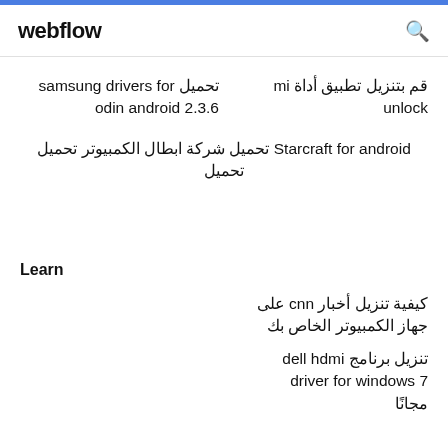webflow
تحميل samsung drivers for odin android 2.3.6
قم بتنزيل تطبيق أداة mi unlock
Starcraft for android تحميل شركة ابطال الكمبيوتر تحميل
Learn
كيفية تنزيل أخبار cnn على جهاز الكمبيوتر الخاص بك
تنزيل برنامج dell hdmi driver for windows 7 مجانًا